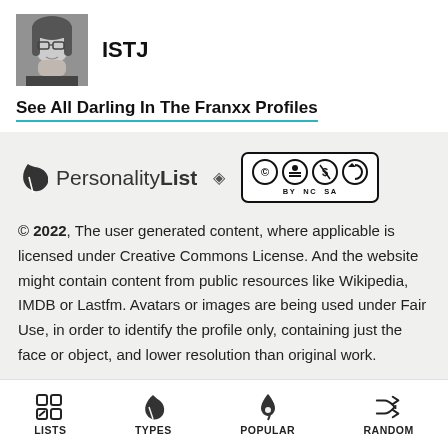[Figure (illustration): Anime character profile avatar - grayscale illustration of a character with glasses]
ISTJ
See All Darling In The Franxx Profiles
[Figure (logo): PersonalityList logo with leaf icon, and Creative Commons BY NC SA license badge]
© 2022, The user generated content, where applicable is licensed under Creative Commons License. And the website might contain content from public resources like Wikipedia, IMDB or Lastfm. Avatars or images are being used under Fair Use, in order to identify the profile only, containing just the face or object, and lower resolution than original work.
Check out our blog ->
LISTS   TYPES   POPULAR   RANDOM